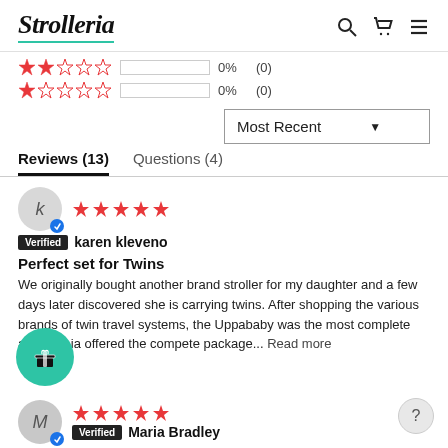Strolleria
2 stars 0% (0)
1 star 0% (0)
Most Recent (dropdown)
Reviews (13)   Questions (4)
Verified   karen kleveno
Perfect set for Twins
We originally bought another brand stroller for my daughter and a few days later discovered she is carrying twins. After shopping the various brands of twin travel systems, the Uppababy was the most complete and only ia offered the compete package... Read more
M  Verified  Maria Bradley